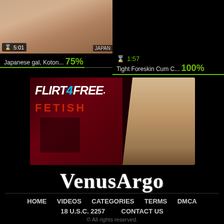[Figure (screenshot): Video thumbnail showing skin-toned content with duration overlay '5:01' and 'JAPAN' tag]
Japanese gal, Koton... 75%
1:57
Tight Foreskin Cum C... 100%
[Figure (photo): Flirt4Free Fetish advertisement banner with woman wearing a bit gag on red background]
VenusArgo
HOME   VIDEOS   CATEGORIES   TERMS   DMCA
18 U.S.C. 2257   CONTACT US
© All rights reserved.